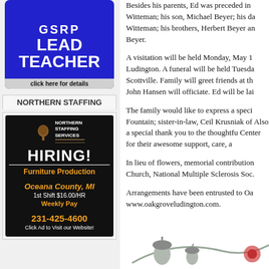[Figure (advertisement): Blue GSRP LEAD TEACHER advertisement with 'click here for details' text]
NORTHERN STAFFING
[Figure (advertisement): Northern Staffing Services black ad: HIRING! Furniture Production, Oceana County MI, 1st Shift $16.00/HR, Weekly Pay, 231-425-4600, Click Ad to Visit our Website!]
Besides his parents, Ed was preceded in Witteman; his son, Michael Beyer; his da Witteman; his brothers, Herbert Beyer an Beyer.
A visitation will be held Monday, May 1 Ludington. A funeral will be held Tuesda Scottville. Family will greet friends at th John Hansen will officiate. Ed will be lai
The family would like to express a speci Fountain; sister-in-law, Ceil Krusniak of Also a special thank you to the thoughtfu Center for their awesome support, care, a
In lieu of flowers, memorial contribution Church, National Multiple Sclerosis Soc.
Arrangements have been entrusted to Oa www.oakgroveludington.com.